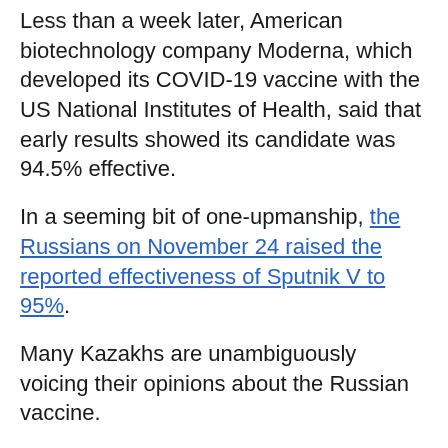Less than a week later, American biotechnology company Moderna, which developed its COVID-19 vaccine with the US National Institutes of Health, said that early results showed its candidate was 94.5% effective.
In a seeming bit of one-upmanship, the Russians on November 24 raised the reported effectiveness of Sputnik V to 95%.
Many Kazakhs are unambiguously voicing their opinions about the Russian vaccine.
"There's no trust in the Russian vaccine," a reader named T. Sultan wrote on the Tengrinews.kz website, adding that Russian internet trolls were "down-voting" critical comments.